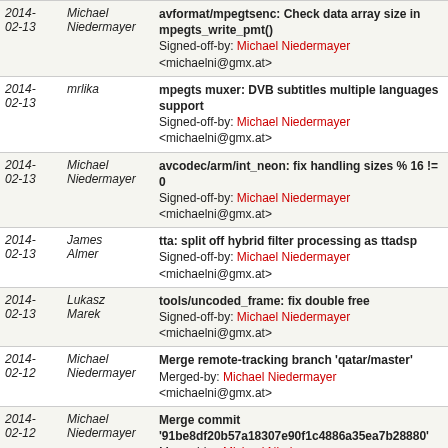| Date | Author | Message |
| --- | --- | --- |
| 2014-02-13 | Michael Niedermayer | avformat/mpegtsenc: Check data array size in mpegts_write_pmt()
Signed-off-by: Michael Niedermayer <michaelni@gmx.at> |
| 2014-02-13 | mrlika | mpegts muxer: DVB subtitles multiple languages support
Signed-off-by: Michael Niedermayer <michaelni@gmx.at> |
| 2014-02-13 | Michael Niedermayer | avcodec/arm/int_neon: fix handling sizes % 16 != 0
Signed-off-by: Michael Niedermayer <michaelni@gmx.at> |
| 2014-02-13 | James Almer | tta: split off hybrid filter processing as ttadsp
Signed-off-by: Michael Niedermayer <michaelni@gmx.at> |
| 2014-02-13 | Lukasz Marek | tools/uncoded_frame: fix double free
Signed-off-by: Michael Niedermayer <michaelni@gmx.at> |
| 2014-02-12 | Michael Niedermayer | Merge remote-tracking branch 'qatar/master'
Merged-by: Michael Niedermayer <michaelni@gmx.at> |
| 2014-02-12 | Michael Niedermayer | Merge commit '91be8df20b57a18307e90f1c4886a35ea7b28880'
Merged-by: Michael Niedermayer <michaelni@gmx.at> |
| 2014-02-12 | Michael Niedermayer | Merge commit '50ea93158d4c480f64069e8bd1da388486dcf4ba'
Merged-by: Michael Niedermayer |